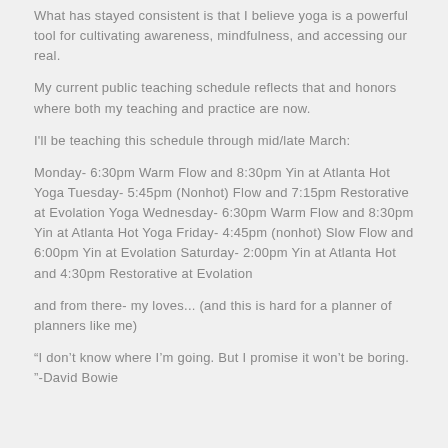What has stayed consistent is that I believe yoga is a powerful tool for cultivating awareness, mindfulness, and accessing our real.
My current public teaching schedule reflects that and honors where both my teaching and practice are now.
I'll be teaching this schedule through mid/late March:
Monday- 6:30pm Warm Flow and 8:30pm Yin at Atlanta Hot Yoga Tuesday- 5:45pm (Nonhot) Flow and 7:15pm Restorative at Evolation Yoga Wednesday- 6:30pm Warm Flow and 8:30pm Yin at Atlanta Hot Yoga Friday- 4:45pm (nonhot) Slow Flow and 6:00pm Yin at Evolation Saturday- 2:00pm Yin at Atlanta Hot and 4:30pm Restorative at Evolation
and from there- my loves... (and this is hard for a planner of planners like me)
“I don’t know where I’m going. But I promise it won’t be boring. ”-David Bowie